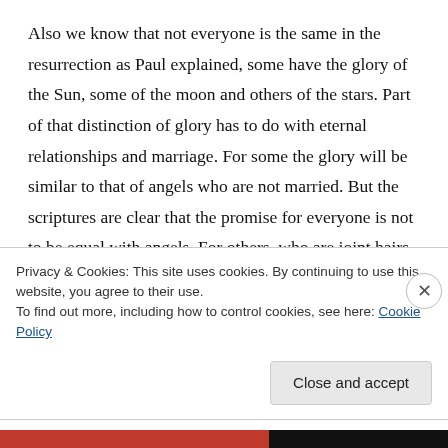Also we know that not everyone is the same in the resurrection as Paul explained, some have the glory of the Sun, some of the moon and others of the stars. Part of that distinction of glory has to do with eternal relationships and marriage. For some the glory will be similar to that of angels who are not married. But the scriptures are clear that the promise for everyone is not to be equal with angels. For others, who are joint hairs with Christ (who is
Privacy & Cookies: This site uses cookies. By continuing to use this website, you agree to their use.
To find out more, including how to control cookies, see here: Cookie Policy
Close and accept